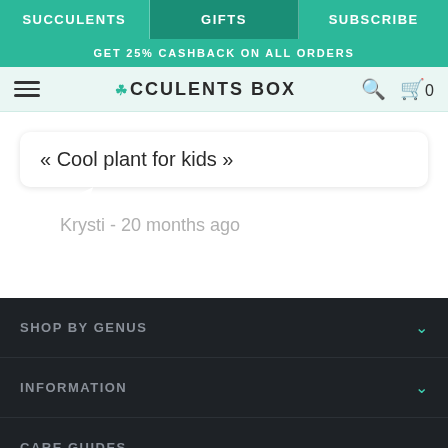SUCCULENTS | GIFTS | SUBSCRIBE
GET 25% CASHBACK ON ALL ORDERS
SUCCULENTS BOX
« Cool plant for kids »
Krysti - 20 months ago
SHOP BY GENUS
INFORMATION
CARE GUIDES